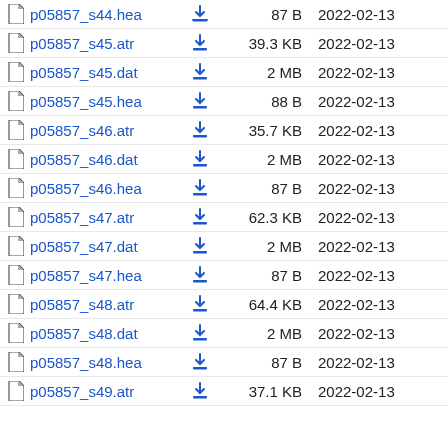p05857_s44.hea  87 B  2022-02-13
p05857_s45.atr  39.3 KB  2022-02-13
p05857_s45.dat  2 MB  2022-02-13
p05857_s45.hea  88 B  2022-02-13
p05857_s46.atr  35.7 KB  2022-02-13
p05857_s46.dat  2 MB  2022-02-13
p05857_s46.hea  87 B  2022-02-13
p05857_s47.atr  62.3 KB  2022-02-13
p05857_s47.dat  2 MB  2022-02-13
p05857_s47.hea  87 B  2022-02-13
p05857_s48.atr  64.4 KB  2022-02-13
p05857_s48.dat  2 MB  2022-02-13
p05857_s48.hea  87 B  2022-02-13
p05857_s49.atr  37.1 KB  2022-02-13